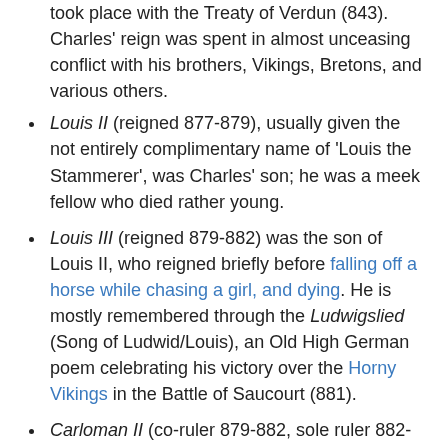took place with the Treaty of Verdun (843). Charles' reign was spent in almost unceasing conflict with his brothers, Vikings, Bretons, and various others.
Louis II (reigned 877-879), usually given the not entirely complimentary name of 'Louis the Stammerer', was Charles' son; he was a meek fellow who died rather young.
Louis III (reigned 879-882) was the son of Louis II, who reigned briefly before falling off a horse while chasing a girl, and dying. He is mostly remembered through the Ludwigslied (Song of Ludwid/Louis), an Old High German poem celebrating his victory over the Horny Vikings in the Battle of Saucourt (881).
Carloman II (co-ruler 879-882, sole ruler 882-884). He was another son of Louis II, and succeeded his childless brother. He died during a hunting accident.
Charles the Fat (reigned 885-888). He was a grandson of Louis the Pious and a cousin to Louis III and Carloman II. Also reigning as king of East Francia. He is best known